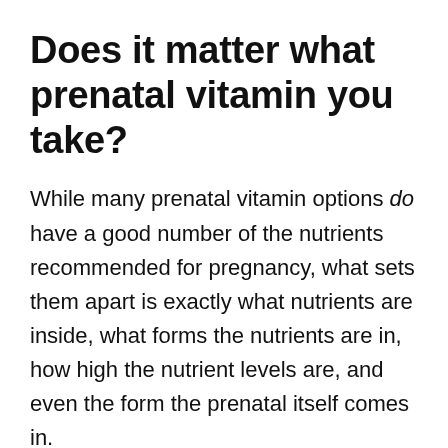Does it matter what prenatal vitamin you take?
While many prenatal vitamin options do have a good number of the nutrients recommended for pregnancy, what sets them apart is exactly what nutrients are inside, what forms the nutrients are in, how high the nutrient levels are, and even the form the prenatal itself comes in.
Here's why some prenatal options out there